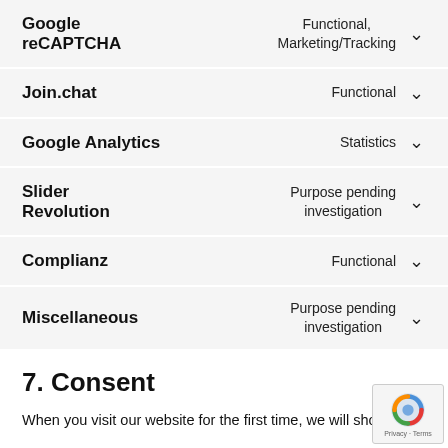Google reCAPTCHA — Functional, Marketing/Tracking
Join.chat — Functional
Google Analytics — Statistics
Slider Revolution — Purpose pending investigation
Complianz — Functional
Miscellaneous — Purpose pending investigation
7. Consent
When you visit our website for the first time, we will show